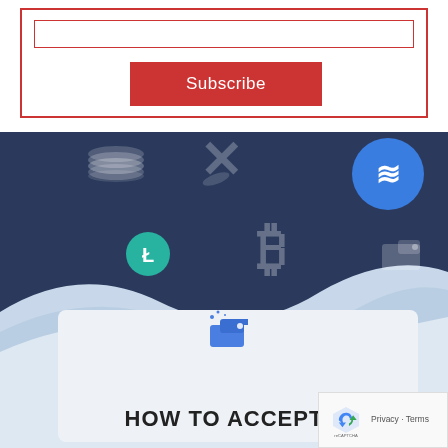[Figure (screenshot): Email subscription form with red border, input field, and red Subscribe button]
[Figure (illustration): Cryptocurrency themed banner with dark navy background, wave shapes in light blue, crypto icons (stacked coins, XRP, Ripple/XRP blue circle, Litecoin teal circle, Bitcoin symbol, wallet icon), and an article card preview showing a blue wallet icon and text HOW TO ACCEPT. A reCAPTCHA Privacy/Terms badge is in the bottom right.]